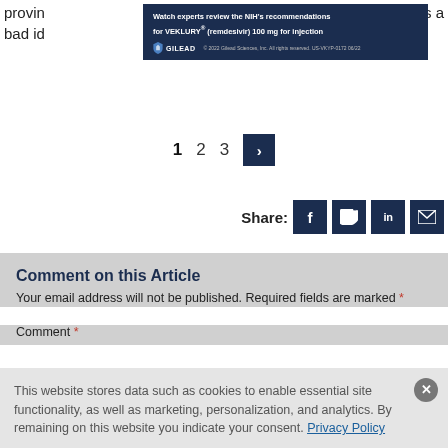provin... on is a bad id...
[Figure (screenshot): Gilead advertisement banner: Watch experts review the NIH's recommendations for VEKLURY® (remdesivir) 100 mg for injection. © 2022 Gilead Sciences, Inc. All rights reserved. US-VKYP-0172 06/22]
1  2  3  >
Share:
Comment on this Article
Your email address will not be published. Required fields are marked *
Comment *
This website stores data such as cookies to enable essential site functionality, as well as marketing, personalization, and analytics. By remaining on this website you indicate your consent. Privacy Policy